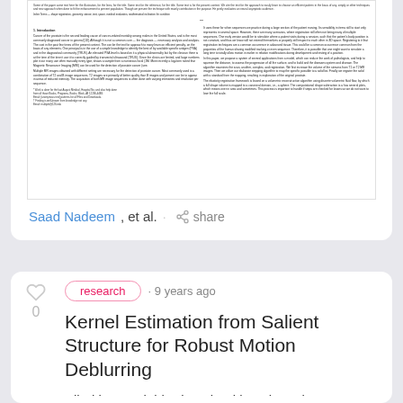[Figure (screenshot): Screenshot of a scientific paper with two-column text layout showing abstract and introduction sections]
Saad Nadeem, et al. · share
research · 9 years ago
Kernel Estimation from Salient Structure for Robust Motion Deblurring
Blind image deblurring algorithms have been improving steadily in the pa...